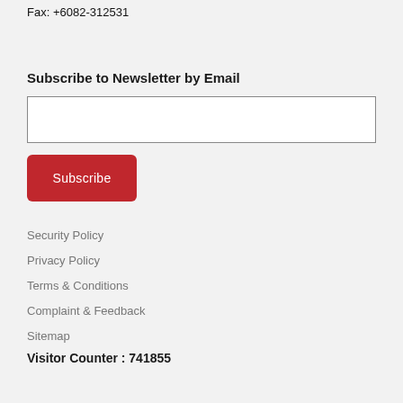Fax: +6082-312531
Subscribe to Newsletter by Email
Subscribe
Security Policy
Privacy Policy
Terms & Conditions
Complaint & Feedback
Sitemap
Visitor Counter : 741855